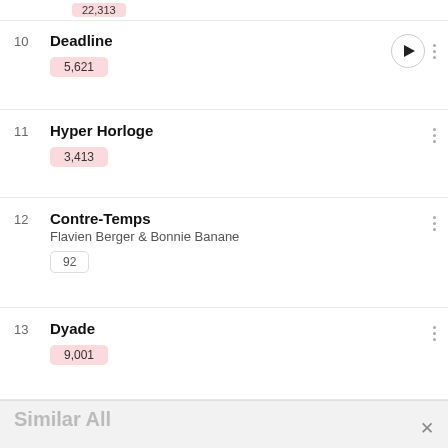10 Deadline 5,621
11 Hyper Horloge 3,413
12 Contre-Temps Flavien Berger & Bonnie Banane 92
13 Dyade 9,001
Similar All